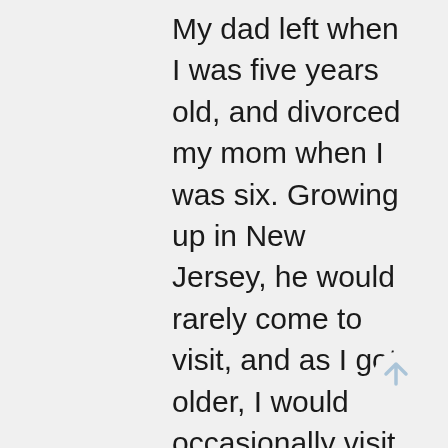My dad left when I was five years old, and divorced my mom when I was six. Growing up in New Jersey, he would rarely come to visit, and as I got older, I would occasionally visit him. From his early visits and outings as a child through my teens and 20's, I viewed him as self-absorbed, disconnected and as someone who was checked out physically and emotionally. Over the years, the few words he spoke to me, were more often than not perceived by me as judgmental, critical, sarcastic and dismissive. Unfortunately, many of these attributes got carved into my personality. We often integrate the positive and negative attributes of